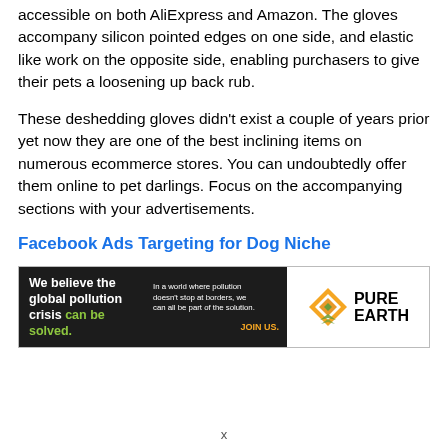accessible on both AliExpress and Amazon. The gloves accompany silicon pointed edges on one side, and elastic like work on the opposite side, enabling purchasers to give their pets a loosening up back rub.
These deshedding gloves didn't exist a couple of years prior yet now they are one of the best inclining items on numerous ecommerce stores. You can undoubtedly offer them online to pet darlings. Focus on the accompanying sections with your advertisements.
Facebook Ads Targeting for Dog Niche
[Figure (other): Advertisement banner for Pure Earth showing text 'We believe the global pollution crisis can be solved.' on dark background and Pure Earth logo on white background with diamond-shaped logo.]
x